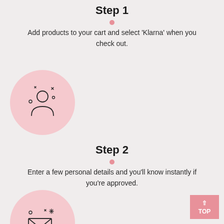Step 1
Add products to your cart and select 'Klarna' when you check out.
[Figure (illustration): Pink circle with a person/user icon with sparkles around it]
Step 2
Enter a few personal details and you'll know instantly if you're approved.
[Figure (illustration): Pink circle with an envelope/mail icon with sparkles around it]